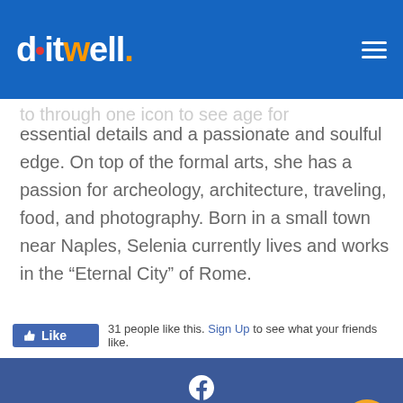doitwell.
to through one icon to see age for essential details and a passionate and soulful edge. On top of the formal arts, she has a passion for archeology, architecture, traveling, food, and photography. Born in a small town near Naples, Selenia currently lives and works in the “Eternal City” of Rome.
[Figure (screenshot): Facebook Like button showing '31 people like this. Sign Up to see what your friends like.']
[Figure (infographic): Facebook share button (dark blue bar with Facebook icon)]
[Figure (infographic): Twitter share button (light blue bar with Twitter bird icon) with orange email circle button overlay]
[Figure (infographic): Partial blue bar at bottom of page]